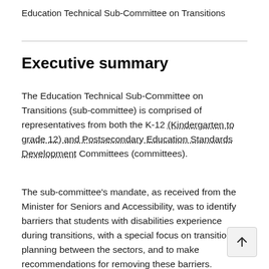Education Technical Sub-Committee on Transitions
Executive summary
The Education Technical Sub-Committee on Transitions (sub-committee) is comprised of representatives from both the K-12 (Kindergarten to grade 12) and Postsecondary Education Standards Development Committees (committees).
The sub-committee's mandate, as received from the Minister for Seniors and Accessibility, was to identify barriers that students with disabilities experience during transitions, with a special focus on transition planning between the sectors, and to make recommendations for removing these barriers.